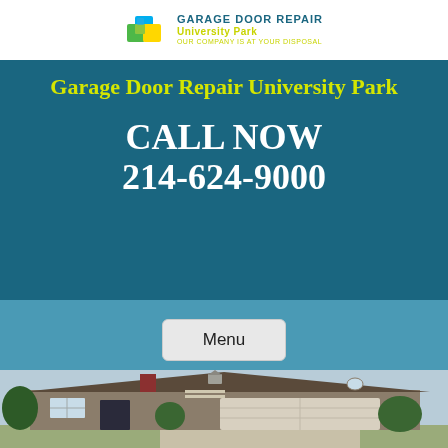[Figure (logo): Garage Door Repair University Park logo with colorful cube icon and text]
Garage Door Repair University Park
CALL NOW
214-624-9000
Menu
[Figure (photo): Photo of a suburban house with white garage door, shingle siding, and landscaping]